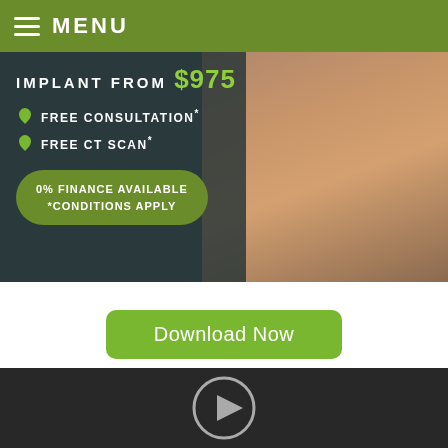MENU
[Figure (screenshot): Dental implant advertisement banner showing a smiling woman with text: IMPLANT FROM $975, FREE CONSULTATION*, FREE CT SCAN*, 0% FINANCE AVAILABLE *CONDITIONS APPLY]
Download Now
[Figure (screenshot): Video player with dark background and circular play button]